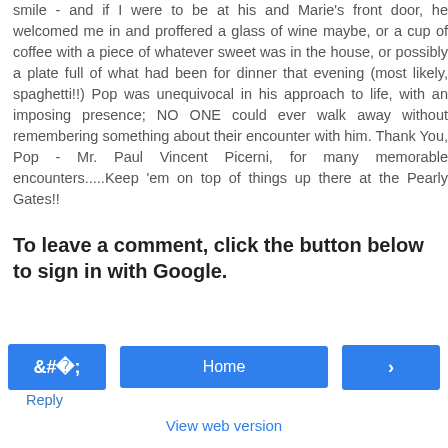smile - and if I were to be at his and Marie's front door, he welcomed me in and proffered a glass of wine maybe, or a cup of coffee with a piece of whatever sweet was in the house, or possibly a plate full of what had been for dinner that evening (most likely, spaghetti!!) Pop was unequivocal in his approach to life, with an imposing presence; NO ONE could ever walk away without remembering something about their encounter with him. Thank You, Pop - Mr. Paul Vincent Picerni, for many memorable encounters.....Keep 'em on top of things up there at the Pearly Gates!!
Reply
To leave a comment, click the button below to sign in with Google.
SIGN IN WITH GOOGLE
‹
Home
›
View web version